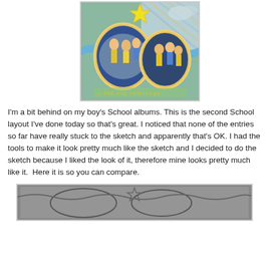[Figure (photo): A colorful scrapbook layout page featuring two oval-framed photos of children in yellow and blue outfits, with a yellow star decoration at the top, blue wavy ribbon, and striped/patterned background paper. Text along the bottom reads 'o the big challenge' in yellow letters.]
I'm a bit behind on my boy's School albums. This is the second School layout I've done today so that's great. I noticed that none of the entries so far have really stuck to the sketch and apparently that's OK. I had the tools to make it look pretty much like the sketch and I decided to do the sketch because I liked the look of it, therefore mine looks pretty much like it.  Here it is so you can compare.
[Figure (photo): A grayscale sketch/template showing a scrapbook layout design with oval photo placeholders and decorative elements.]